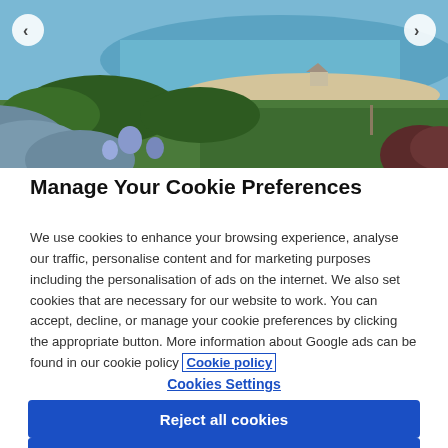[Figure (photo): Landscape photo showing a coastal scene with a sandy beach, blue water, green lawn, trees, and wildflowers in the foreground. Navigation arrows on left and right sides.]
Manage Your Cookie Preferences
We use cookies to enhance your browsing experience, analyse our traffic, personalise content and for marketing purposes including the personalisation of ads on the internet. We also set cookies that are necessary for our website to work. You can accept, decline, or manage your cookie preferences by clicking the appropriate button. More information about Google ads can be found in our cookie policy Cookie policy
Cookies Settings
Reject all cookies